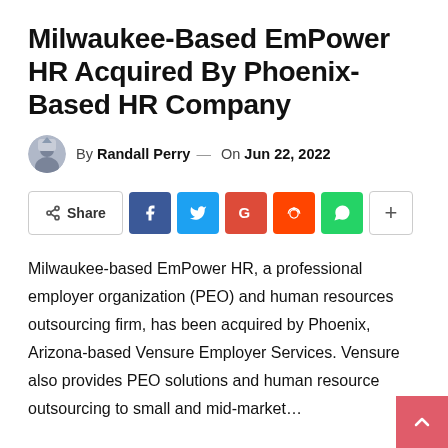Milwaukee-Based EmPower HR Acquired By Phoenix-Based HR Company
By Randall Perry — On Jun 22, 2022
[Figure (infographic): Social share buttons row: Share, Facebook, Twitter, Google+, Reddit, WhatsApp, More]
Milwaukee-based EmPower HR, a professional employer organization (PEO) and human resources outsourcing firm, has been acquired by Phoenix, Arizona-based Vensure Employer Services. Vensure also provides PEO solutions and human resource outsourcing to small and mid-market…
Milwaukee-based EmPower HR, a professional employer organization (PEO) and human resources outsourcing firm, has